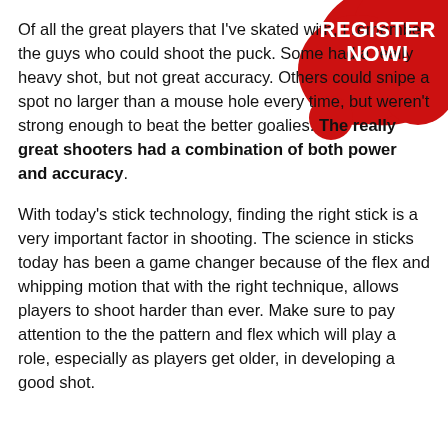[Figure (illustration): Red irregular blob/splash shape in the top-right corner of the page, with a smaller red circle overlapping it slightly below and to the left.]
REGISTER NOW!
Of all the great players that I've skated with, I remember the guys who could shoot the puck. Some had a really heavy shot, but not great accuracy. Others could snipe a spot no larger than a mouse hole every time, but weren't strong enough to beat the better goalies. The really great shooters had a combination of both power and accuracy.
With today's stick technology, finding the right stick is a very important factor in shooting. The science in sticks today has been a game changer because of the flex and whipping motion that with the right technique, allows players to shoot harder than ever. Make sure to pay attention to the the pattern and flex which will play a role, especially as players get older, in developing a good shot.